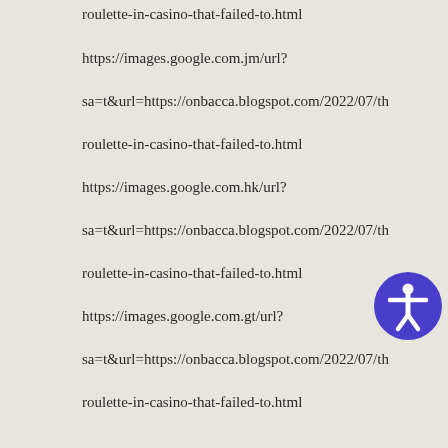roulette-in-casino-that-failed-to.html
https://images.google.com.jm/url?
sa=t&url=https://onbacca.blogspot.com/2022/07/th
roulette-in-casino-that-failed-to.html
https://images.google.com.hk/url?
sa=t&url=https://onbacca.blogspot.com/2022/07/th
roulette-in-casino-that-failed-to.html
https://images.google.com.gt/url?
sa=t&url=https://onbacca.blogspot.com/2022/07/th
roulette-in-casino-that-failed-to.html
https://images.google.com.gi/url?
sa=t&url=https://onbacca.blogspot.com/2022/07/th
roulette-in-casino-that-failed-to.html
https://images.google.com.gh/url?
sa=t&url=https://onbacca.blogspot.com/2022/07/th
roulette-in-casino-that-failed-to.html
[Figure (other): Accessibility icon button - purple circle with white human figure icon]